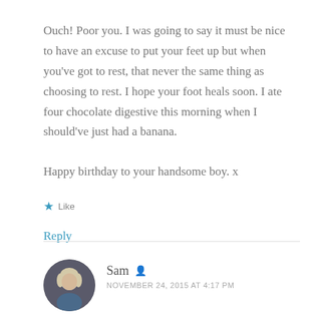Ouch! Poor you. I was going to say it must be nice to have an excuse to put your feet up but when you've got to rest, that never the same thing as choosing to rest. I hope your foot heals soon. I ate four chocolate digestive this morning when I should've just had a banana.
Happy birthday to your handsome boy. x
★ Like
Reply
Sam
NOVEMBER 24, 2015 AT 4:17 PM